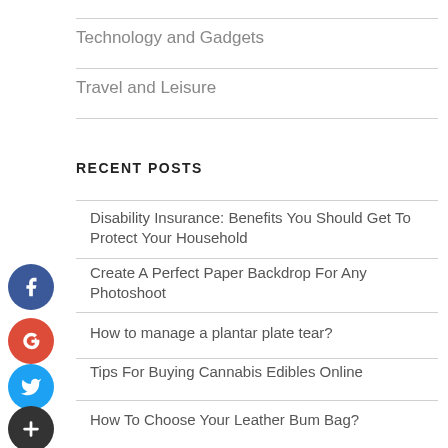Technology and Gadgets
Travel and Leisure
RECENT POSTS
Disability Insurance: Benefits You Should Get To Protect Your Household
Create A Perfect Paper Backdrop For Any Photoshoot
How to manage a plantar plate tear?
Tips For Buying Cannabis Edibles Online
How To Choose Your Leather Bum Bag?